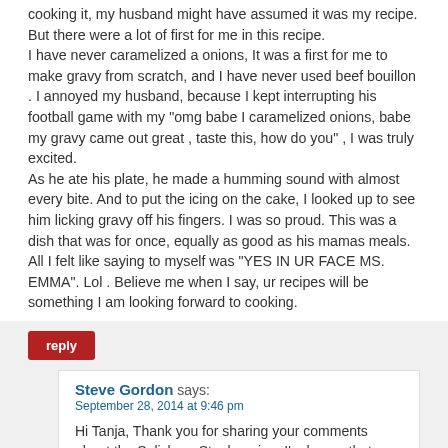cooking it, my husband might have assumed it was my recipe. But there were a lot of first for me in this recipe.
I have never caramelized a onions, It was a first for me to make gravy from scratch, and I have never used beef bouillon . I annoyed my husband, because I kept interrupting his football game with my "omg babe I caramelized onions, babe my gravy came out great , taste this, how do you" , I was truly excited.
As he ate his plate, he made a humming sound with almost every bite. And to put the icing on the cake, I looked up to see him licking gravy off his fingers. I was so proud. This was a dish that was for once, equally as good as his mamas meals.
All I felt like saying to myself was "YES IN UR FACE MS. EMMA". Lol . Believe me when I say, ur recipes will be something I am looking forward to cooking.
reply
Steve Gordon says:
September 28, 2014 at 9:46 pm
Hi Tanja, Thank you for sharing your comments about the Salisbury Steak recipe. I'm happy that you jumped in and gave it a try, and super happy that it turned out well for you. Keep it up.
I hope you and Ms. Emma are still friends. (Smile) I also hope